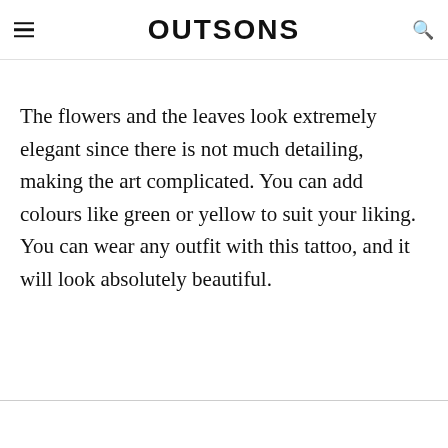OUTSONS
The flowers and the leaves look extremely elegant since there is not much detailing, making the art complicated. You can add colours like green or yellow to suit your liking. You can wear any outfit with this tattoo, and it will look absolutely beautiful.